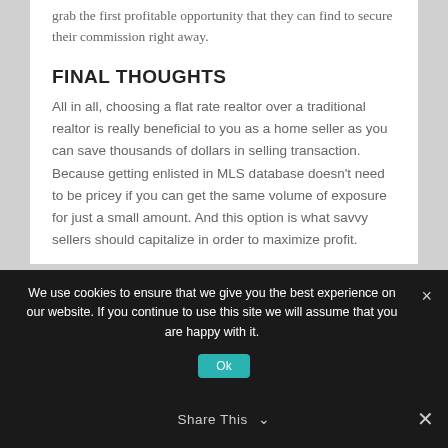grab the first profitable opportunity that they can find to secure their commission right away.
FINAL THOUGHTS
All in all, choosing a flat rate realtor over a traditional realtor is really beneficial to you as a home seller as you can save thousands of dollars in selling transaction. Because getting enlisted in MLS database doesn't need to be pricey if you can get the same volume of exposure for just a small amount. And this option is what savvy sellers should capitalize in order to maximize profit.
We use cookies to ensure that we give you the best experience on our website. If you continue to use this site we will assume that you are happy with it.
Ok
Share This ∨